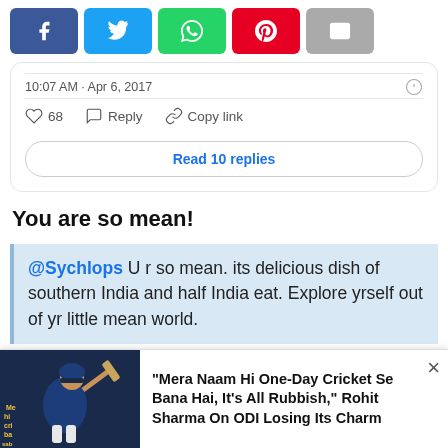[Figure (screenshot): Social media share buttons: Facebook (blue), Twitter (light blue), WhatsApp (green), Pinterest (red), Email (grey)]
10:07 AM · Apr 6, 2017
68   Reply   Copy link
Read 10 replies
You are so mean!
@Sychlops U r so mean. its delicious dish of southern India and half India eat. Explore yrself out of yr little mean world.
Vijay Chauhan (@Chauhan_VijayK) April 7
[Figure (screenshot): Ad banner: Rohit Sharma cricket photo on left, text: "Mera Naam Hi One-Day Cricket Se Bana Hai, It's All Rubbish," Rohit Sharma On ODI Losing Its Charm]